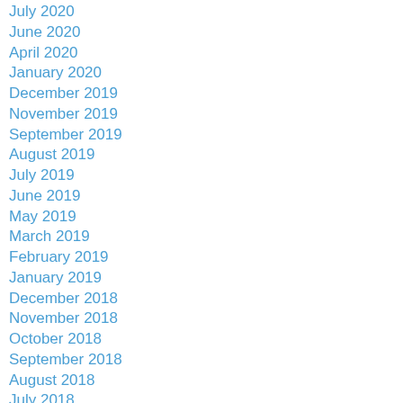July 2020
June 2020
April 2020
January 2020
December 2019
November 2019
September 2019
August 2019
July 2019
June 2019
May 2019
March 2019
February 2019
January 2019
December 2018
November 2018
October 2018
September 2018
August 2018
July 2018